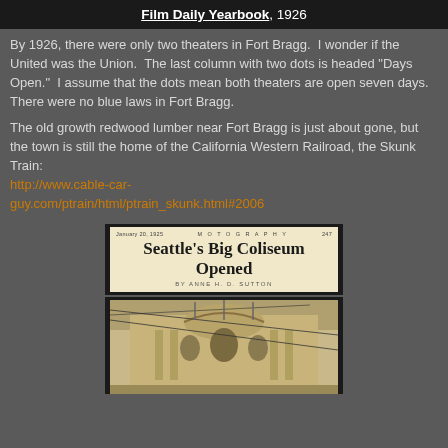Film Daily Yearbook, 1926
By 1926, there were only two theaters in Fort Bragg.  I wonder if the United was the Union.  The last column with two dots is headed "Days Open."  I assume that the dots mean both theaters are open seven days.  There were no blue laws in Fort Bragg.
The old growth redwood lumber near Fort Bragg is just about gone, but the town is still the home of the California Western Railroad, the Skunk Train:
http://www.cable-car-guy.com/ptrain/html/ptrain_skunk.html#2006
[Figure (photo): Newspaper clipping with header 'Seattle's Big Coliseum Opened by Anne H. D. Sutton' and a sepia photograph of a large ornate building (coliseum) facade.]